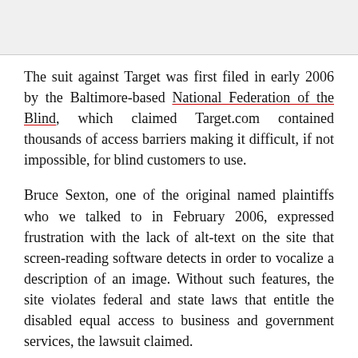[Figure (other): Gray image area at the top of the page, partially visible]
The suit against Target was first filed in early 2006 by the Baltimore-based National Federation of the Blind, which claimed Target.com contained thousands of access barriers making it difficult, if not impossible, for blind customers to use.
Bruce Sexton, one of the original named plaintiffs who we talked to in February 2006, expressed frustration with the lack of alt-text on the site that screen-reading software detects in order to vocalize a description of an image. Without such features, the site violates federal and state laws that entitle the disabled equal access to business and government services, the lawsuit claimed.
Specifically, the settlement, filed in the U.S. District Court of Northern California, requires that blind guests using screen-reader software on Target.com